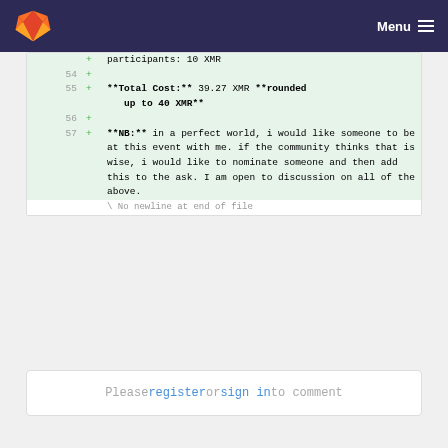Menu
participants: 10 XMR
54 +
55 + **Total Cost:** 39.27 XMR **rounded up to 40 XMR**
56 +
57 + **NB:** in a perfect world, i would like someone to be at this event with me. if the community thinks that is wise, i would like to nominate someone and then add this to the ask. I am open to discussion on all of the above.
\ No newline at end of file
Please register or sign in to comment